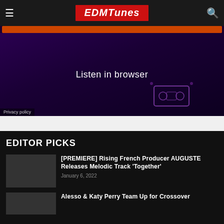EDMTunes
[Figure (screenshot): Purple/dark music streaming banner ad with orange bar at top and text 'Listen in browser']
Privacy policy
EDITOR PICKS
[PREMIERE] Rising French Producer AUGUSTE Releases Melodic Track 'Together'
January 6, 2022
Alesso & Katy Perry Team Up for Crossover